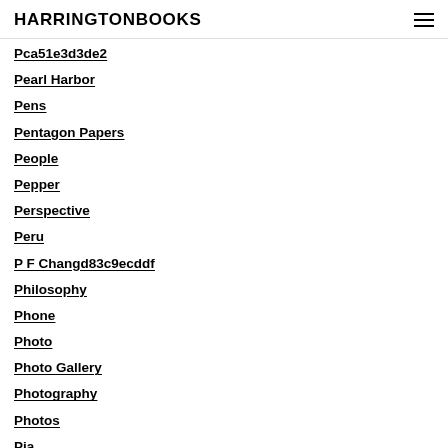HARRINGTONBOOKS
Pca51e3d3de2
Pearl Harbor
Pens
Pentagon Papers
People
Pepper
Perspective
Peru
P F Changd83c9ecddf
Philosophy
Phone
Photo
Photo Gallery
Photography
Photos
Pia
Piano